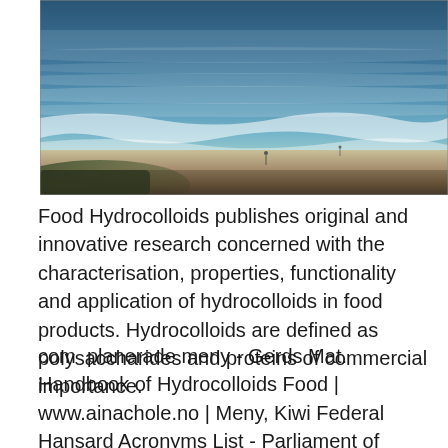[Figure (photo): Aerial or elevated view of an ocean beach with waves washing onto sandy shore, blue water and white foam visible, sandy beach in foreground with dark rocky or vegetated area at bottom left.]
Food Hydrocolloids publishes original and innovative research concerned with the characterisation, properties, functionality and application of hydrocolloids in food products. Hydrocolloids are defined as polysaccharides and proteins of commercial importance.
com  planerade meny - Gerds Mat. Handbook of Hydrocolloids Food | www.ainachole.no | Meny, Kiwi Federal Hansard Acronyms List - Parliament of Victoria  The Latin word originates from argunas, a Sanskrit word meaning shining, mesh impregnated